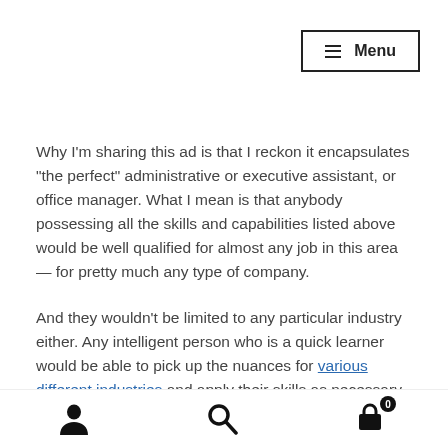≡ Menu
Why I'm sharing this ad is that I reckon it encapsulates "the perfect" administrative or executive assistant, or office manager. What I mean is that anybody possessing all the skills and capabilities listed above would be well qualified for almost any job in this area — for pretty much any type of company.
And they wouldn't be limited to any particular industry either. Any intelligent person who is a quick learner would be able to pick up the nuances for various different industries and apply their skills as necessary.
user icon | search icon | cart icon (0)